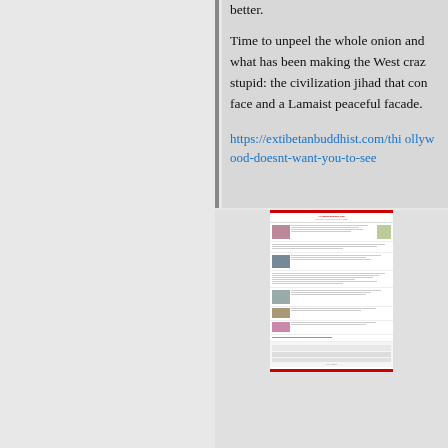better.
Time to unpeel the whole onion and understand what has been making the West crazy and stupid: the civilization jihad that comes with a Tibetan face and a Lamaist peaceful facade.
https://extibetanbuddhist.com/this-is-what-hollywood-doesnt-want-you-to-see
[Figure (screenshot): Thumbnail screenshot of a webpage from extibetanbuddhist.com showing multiple article listings with images of people and text.]